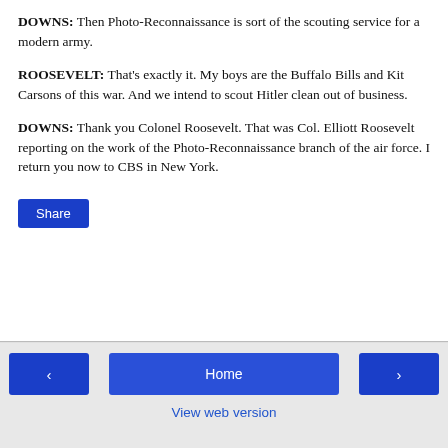DOWNS: Then Photo-Reconnaissance is sort of the scouting service for a modern army.
ROOSEVELT: That's exactly it. My boys are the Buffalo Bills and Kit Carsons of this war. And we intend to scout Hitler clean out of business.
DOWNS: Thank you Colonel Roosevelt. That was Col. Elliott Roosevelt reporting on the work of the Photo-Reconnaissance branch of the air force. I return you now to CBS in New York.
Share
< Home > View web version